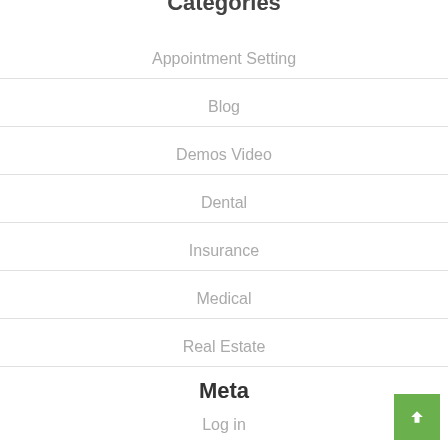Categories
Appointment Setting
Blog
Demos Video
Dental
Insurance
Medical
Real Estate
Meta
Log in